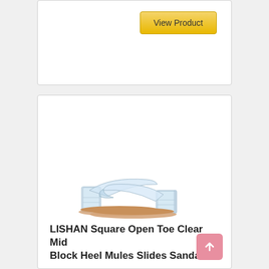[Figure (screenshot): Top portion of a product card with a 'View Product' button in gold/yellow color]
[Figure (photo): Clear mid-block heel mule sandals (LISHAN brand) with transparent PVC upper and lucite block heel, shown as a pair on white background]
LISHAN Square Open Toe Clear Mid Block Heel Mules Slides Sandals